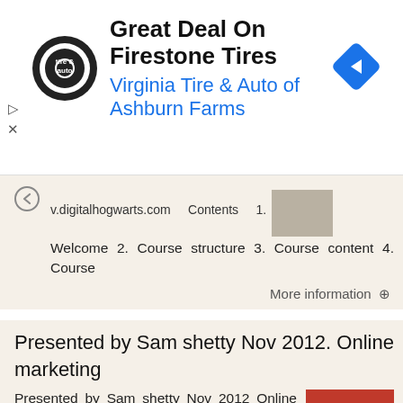[Figure (screenshot): Ad banner for Virginia Tire & Auto of Ashburn Farms with circular logo, ad title 'Great Deal On Firestone Tires', subtitle 'Virginia Tire & Auto of Ashburn Farms', and a blue diamond navigation icon on the right. Play and X controls on the left side.]
v.digitalhogwarts.com   Contents   1. Welcome 2. Course structure 3. Course content 4. Course
More information →
Presented by Sam shetty Nov 2012. Online marketing
Presented by Sam shetty Nov 2012 Online marketing Agenda The Digital landscape Online marketing, Which one is right for me? Planning your SEO implementation SEO process PPC Social media Mobile websites
More information →